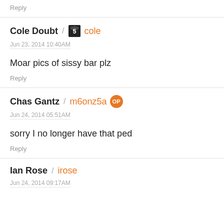Reply
Cole Doubt / cole
Jun 23, 2014 10:40AM
Moar pics of sissy bar plz
Reply
Chas Gantz / m6onz5a OP
Jun 24, 2014 05:51AM
sorry I no longer have that ped
Reply
Ian Rose / irose
Jun 24, 2014 09:17AM